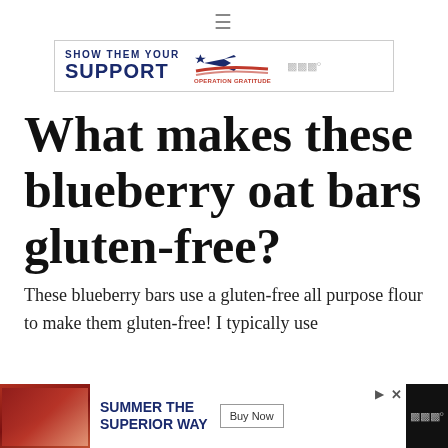[Figure (screenshot): Hamburger menu icon (three horizontal lines)]
[Figure (screenshot): Show Them Your Support – Operation Gratitude banner advertisement]
What makes these blueberry oat bars gluten-free?
These blueberry bars use a gluten-free all purpose flour to make them gluten-free! I typically use
[Figure (screenshot): Summer The Superior Way – Buy Now advertisement banner at bottom of page]